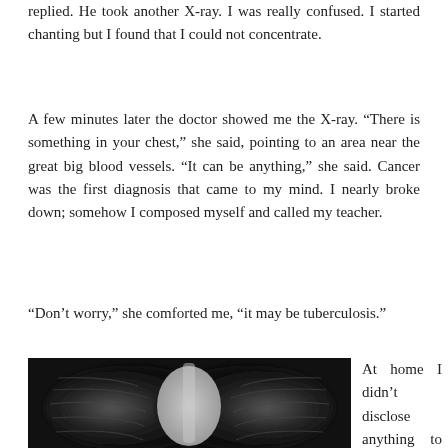replied. He took another X-ray. I was really confused. I started chanting but I found that I could not concentrate.
A few minutes later the doctor showed me the X-ray. “There is something in your chest,” she said, pointing to an area near the great big blood vessels. “It can be anything,” she said. Cancer was the first diagnosis that came to my mind. I nearly broke down; somehow I composed myself and called my teacher.
“Don’t worry,” she comforted me, “it may be tuberculosis.”
[Figure (photo): Chest X-ray showing lungs with an abnormality near the great blood vessels, shown in black and white.]
At home I didn’t disclose anything to my wife or friends. The next day I went to a